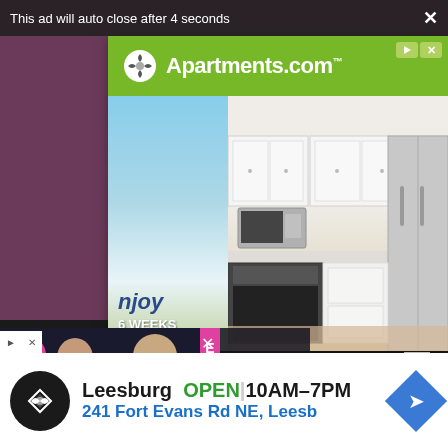This ad will auto close after 4 seconds  X
[Figure (screenshot): Apartments.com advertisement banner with green header showing logo, and photo of modern kitchen interior with white cabinets and stainless steel appliances. Left panel shows blue sky, city skyline, and text 'enjoy 6 WEEKS FREE RENT!*']
[Figure (screenshot): Video overlay showing two people (man and woman) smiling, with Entertainment logo badge, channel E badge, and text 'RI... RO...' and a close button X]
Wiki,
Leesburg  OPEN | 10AM–7PM
241 Fort Evans Rd NE, Leesb